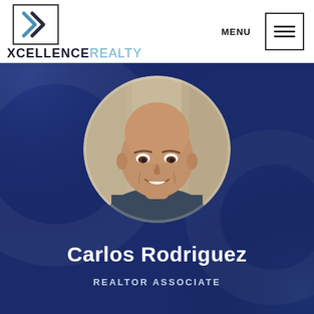[Figure (logo): Xcellence Realty logo with X icon in bordered box and wordmark below]
MENU
[Figure (screenshot): Blue banner background with circular profile photo of Carlos Rodriguez, a bald middle-aged man smiling, wearing a dark sweater, outdoors]
Carlos Rodriguez
REALTOR ASSOCIATE